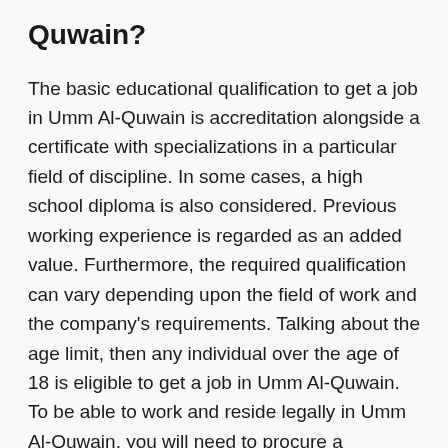Quwain?
The basic educational qualification to get a job in Umm Al-Quwain is accreditation alongside a certificate with specializations in a particular field of discipline. In some cases, a high school diploma is also considered. Previous working experience is regarded as an added value. Furthermore, the required qualification can vary depending upon the field of work and the company's requirements. Talking about the age limit, then any individual over the age of 18 is eligible to get a job in Umm Al-Quwain. To be able to work and reside legally in Umm Al-Quwain, you will need to procure a residence visa and a work permit. However, beforehand your employer must be ready to hire you and begin the necessary procedure to procure your employment visa and work permit. The